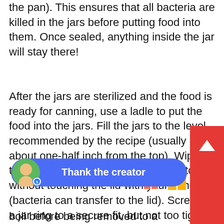the pan). This ensures that all bacteria are killed in the jars before putting food into them. Once sealed, anything inside the jar will stay there!
After the jars are sterilized and the food is ready for canning, use a ladle to put the food into the jars. Fill the jars to the level recommended by the recipe (usually about one-half inch from the top). Wipe the rim of the jar and put a hot lid onto it without touching the lid with your hands (bacteria can transfer to the lid). Screw on a jar ring to a secure fit, but not too tight.
The jars will need to be put into the canner and brought to a boil. The boiling water must cover the jars compl[etely, at least one ]inch above the tops. The[ jars should remain ]long th[e boil before being removed to a countert]op.